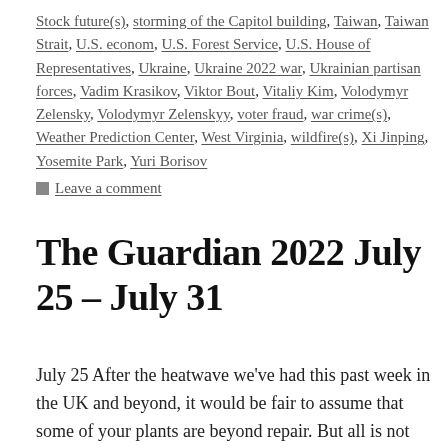Stock future(s), storming of the Capitol building, Taiwan, Taiwan Strait, U.S. econom, U.S. Forest Service, U.S. House of Representatives, Ukraine, Ukraine 2022 war, Ukrainian partisan forces, Vadim Krasikov, Viktor Bout, Vitaliy Kim, Volodymyr Zelensky, Volodymyr Zelenskyy, voter fraud, war crime(s), Weather Prediction Center, West Virginia, wildfire(s), Xi Jinping, Yosemite Park, Yuri Borisov
Leave a comment
The Guardian 2022 July 25 – July 31
July 25 After the heatwave we've had this past week in the UK and beyond, it would be fair to assume that some of your plants are beyond repair. But all is not